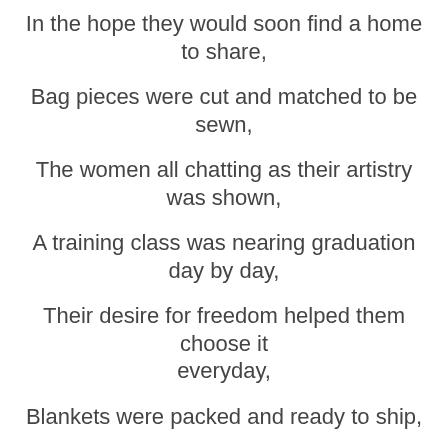In the hope they would soon find a home to share,
Bag pieces were cut and matched to be sewn,
The women all chatting as their artistry was shown,
A training class was nearing graduation day by day,
Their desire for freedom helped them choose it everyday,
Blankets were packed and ready to ship,
They would soon arrive after the long trip,
The goods were unpacked with great precision,
Digital shelves well stocked to help you make your